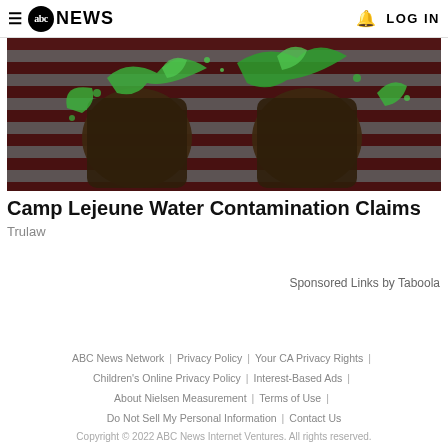abc NEWS | LOG IN
[Figure (photo): Close-up of military boots on an American flag with green liquid splashing over them]
Camp Lejeune Water Contamination Claims
Trulaw
Sponsored Links by Taboola
ABC News Network | Privacy Policy | Your CA Privacy Rights | Children's Online Privacy Policy | Interest-Based Ads | About Nielsen Measurement | Terms of Use | Do Not Sell My Personal Information | Contact Us
Copyright © 2022 ABC News Internet Ventures. All rights reserved.